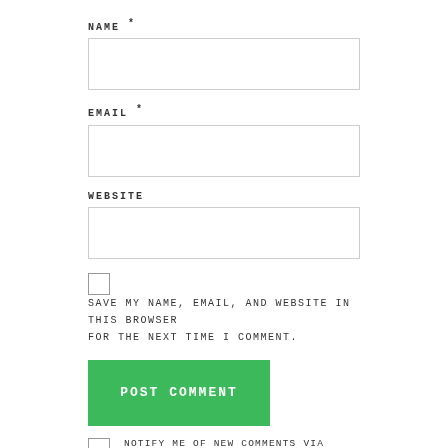NAME *
[Figure (other): Text input field for NAME]
EMAIL *
[Figure (other): Text input field for EMAIL]
WEBSITE
[Figure (other): Text input field for WEBSITE]
SAVE MY NAME, EMAIL, AND WEBSITE IN THIS BROWSER FOR THE NEXT TIME I COMMENT.
POST COMMENT
NOTIFY ME OF NEW COMMENTS VIA EMAIL.
NOTIFY ME OF NEW POSTS VIA EMAIL.